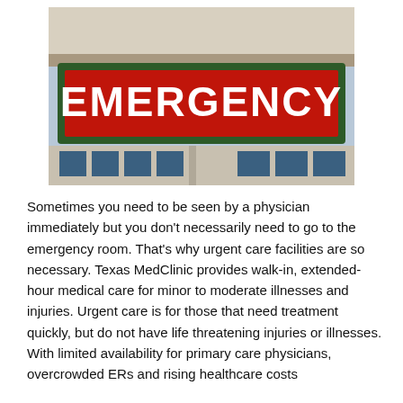[Figure (photo): Photo of a hospital emergency room sign. A large red rectangular sign with white bold text reading EMERGENCY, framed with a dark green border, mounted above a building with blue-tinted windows.]
Sometimes you need to be seen by a physician immediately but you don't necessarily need to go to the emergency room. That's why urgent care facilities are so necessary. Texas MedClinic provides walk-in, extended-hour medical care for minor to moderate illnesses and injuries. Urgent care is for those that need treatment quickly, but do not have life threatening injuries or illnesses. With limited availability for primary care physicians, overcrowded ERs and rising healthcare costs...